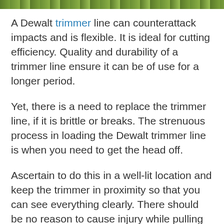[Figure (photo): Top strip showing a green outdoor scene, likely grass or foliage.]
A Dewalt trimmer line can counterattack impacts and is flexible. It is ideal for cutting efficiency. Quality and durability of a trimmer line ensure it can be of use for a longer period.
Yet, there is a need to replace the trimmer line, if it is brittle or breaks. The strenuous process in loading the Dewalt trimmer line is when you need to get the head off.
Ascertain to do this in a well-lit location and keep the trimmer in proximity so that you can see everything clearly. There should be no reason to cause injury while pulling the head away from the unit.